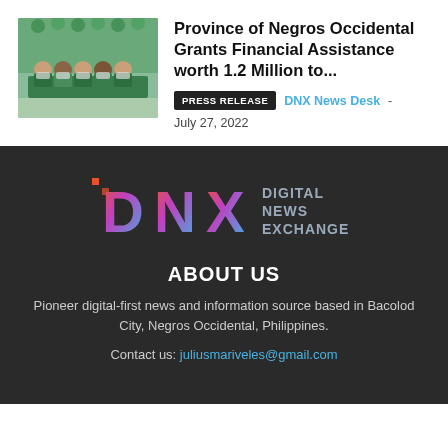[Figure (photo): Group photo of people wearing masks seated at a table with green decorations in the background]
Province of Negros Occidental Grants Financial Assistance worth 1.2 Million to...
PRESS RELEASE   DNX News Desk - July 27, 2022
[Figure (logo): DNX Digital News Exchange logo with gradient letters on dark background]
ABOUT US
Pioneer digital-first news and information source based in Bacolod City, Negros Occidental, Philippines.
Contact us: juliusmariveles@gmail.com